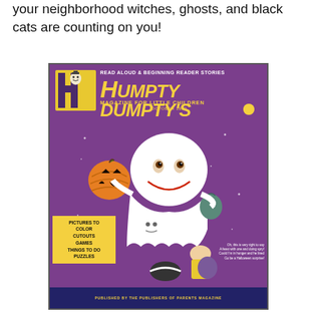your neighborhood witches, ghosts, and black cats are counting on you!
[Figure (illustration): Cover of Humpty Dumpty's Magazine for Little Children, October 1960. Purple background with a large white cartoon ghost wearing a sheet costume (with a smiling face drawn in red), holding a jack-o-lantern in one hand and a bag in the other. Children in costumes are visible beneath the ghost. Bottom left yellow box lists: PICTURES TO COLOR, CUTOUTS, GAMES, THINGS TO DO, PUZZLES. Top shows the Humpty Dumpty logo and masthead text READ ALOUD & BEGINNING READER STORIES.]